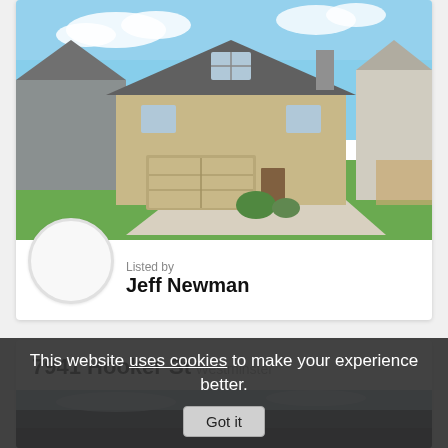[Figure (photo): Exterior photo of a two-story suburban house with beige siding, two-car garage, and green lawn]
Listed by
Jeff Newman
7941 Hooker St
Westminster
[Figure (photo): Partial exterior photo of another property, mostly sky and dark foreground]
This website uses cookies to make your experience better.
Got it